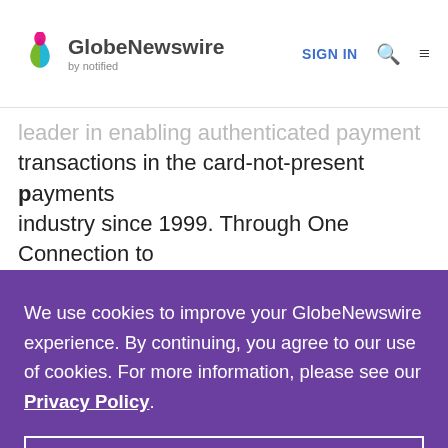GlobeNewswire by notified | SIGN IN
leader in enabling authenticated payment transactions in the card-not-present payments industry since 1999. Through One Connection to our proprietary SafeCloudTM payment platform,
We use cookies to improve your GlobeNewswire experience. By continuing, you agree to our use of cookies. For more information, please see our Privacy Policy.
ACCEPT